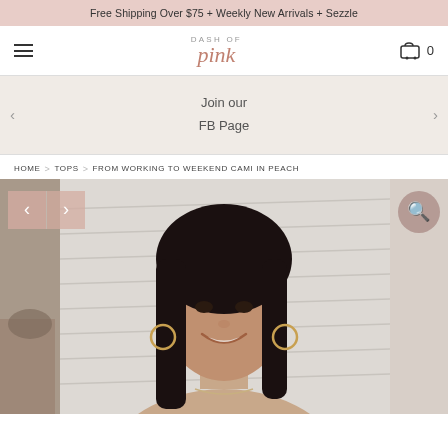Free Shipping Over $75 + Weekly New Arrivals + Sezzle
[Figure (logo): Dash of Pink logo with 'DASH OF' in small caps and 'pink' in pink script font]
Join our FB Page
HOME > TOPS > FROM WORKING TO WEEKEND CAMI IN PEACH
[Figure (photo): A smiling woman with dark hair wearing hoop earrings and a peach cami top, photographed in a bright interior setting]